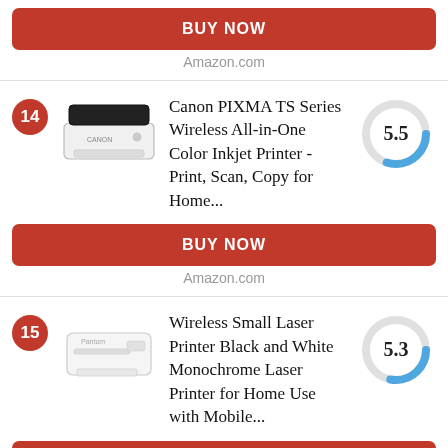BUY NOW
Amazon.com
14
[Figure (photo): Canon PIXMA TS Series inkjet printer, white and black, compact desktop printer]
Canon PIXMA TS Series Wireless All-in-One Color Inkjet Printer - Print, Scan, Copy for Home...
[Figure (donut-chart): Score 5.5]
BUY NOW
Amazon.com
15
[Figure (photo): Wireless Small Laser Printer, white, compact desktop laser printer]
Wireless Small Laser Printer Black and White Monochrome Laser Printer for Home Use with Mobile...
[Figure (donut-chart): Score 5.3]
BUY NOW